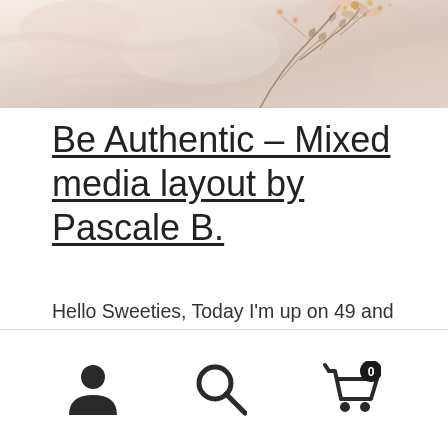[Figure (illustration): Botanical/floral mixed media artwork with pink, cream, and gold tones, featuring floral elements and decorative details on a light textured background]
Be Authentic – Mixed media layout by Pascale B.
Hello Sweeties, Today I'm up on 49 and Market blog with a new video tutorial where you will be able to watch how this layout featuring the Vintage Artistry Natural collection was made. First, I stamped randomly with 1787, In Between, and Gratitude Today. When done, I primed the background with clear gesso. I add [...]
Navigation icons: user account, search, shopping cart (0 items)